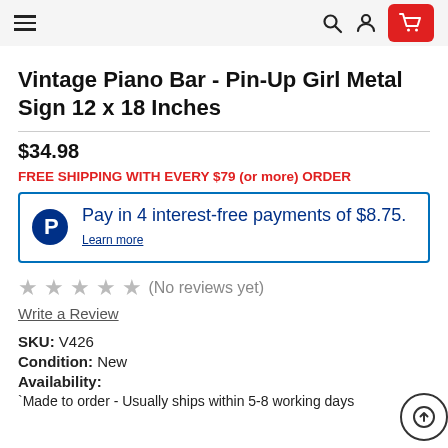Navigation header with hamburger menu, search icon, user icon, and cart icon
Vintage Piano Bar - Pin-Up Girl Metal Sign 12 x 18 Inches
$34.98
FREE SHIPPING WITH EVERY $79 (or more) ORDER
Pay in 4 interest-free payments of $8.75. Learn more
★★★★★ (No reviews yet)
Write a Review
SKU: V426
Condition: New
Availability:
*Made to order - Usually ships within 5-8 working days